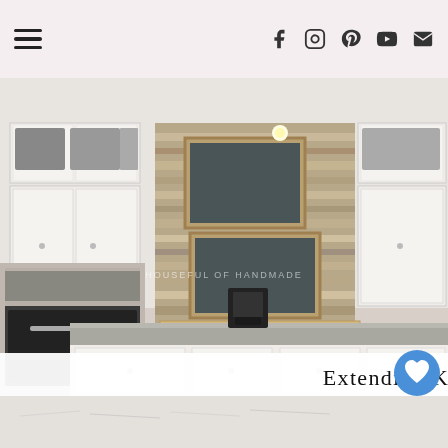Navigation header with hamburger menu and social icons (Facebook, Instagram, Pinterest, YouTube, Email)
[Figure (photo): Kitchen interior showing white cabinets extended to ceiling with storage boxes on top, wood plank backsplash, chalkboard signs, stainless steel appliances, coffee station, and granite countertop.]
Extending Kitchen Cabinets To The Ceiling
[Figure (photo): Partial view of another kitchen or room image at bottom of page, showing light colored interior.]